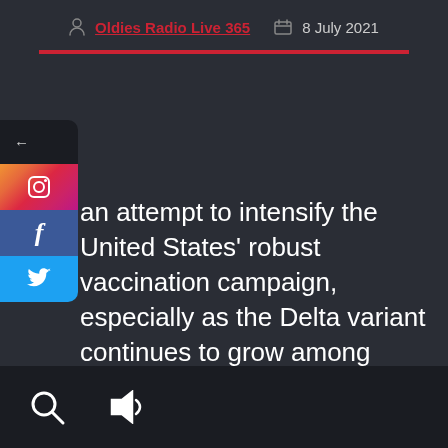Oldies Radio Live 365  8 July 2021
an attempt to intensify the United States' robust vaccination campaign, especially as the Delta variant continues to grow among unvaccinated people across the country, President Joe Biden announced five areas his